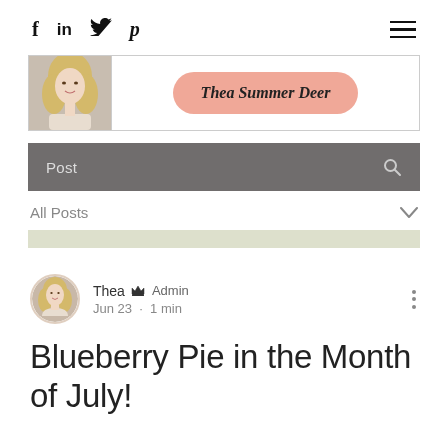f  in  twitter  pinterest  (hamburger menu)
[Figure (logo): Thea Summer Deer blog logo with author photo on left and name in salmon/peach pill shape on right]
Post (search bar)
All Posts
Thea  Admin  Jun 23 · 1 min
Blueberry Pie in the Month of July!